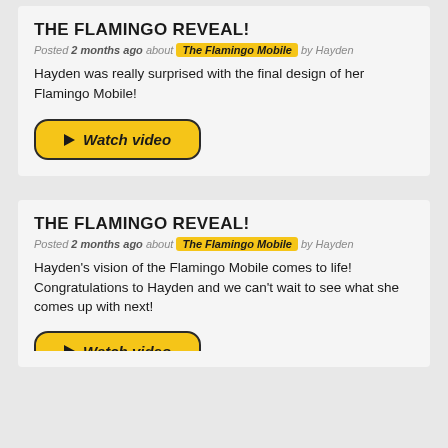THE FLAMINGO REVEAL!
Posted 2 months ago about The Flamingo Mobile by Hayden
Hayden was really surprised with the final design of her Flamingo Mobile!
[Figure (other): Yellow Watch video button with play icon]
THE FLAMINGO REVEAL!
Posted 2 months ago about The Flamingo Mobile by Hayden
Hayden's vision of the Flamingo Mobile comes to life! Congratulations to Hayden and we can't wait to see what she comes up with next!
[Figure (other): Yellow Watch video button with play icon (partially visible)]